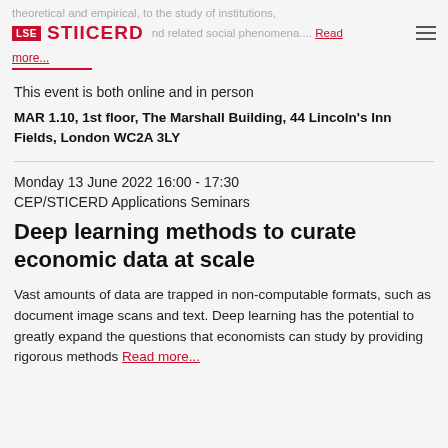theoretical and empirical, to the study of institutions, LSE STIICERD policy behaviour and related social phenomena....Read more...
This event is both online and in person
MAR 1.10, 1st floor, The Marshall Building, 44 Lincoln's Inn Fields, London WC2A 3LY
Monday 13 June 2022 16:00 - 17:30
CEP/STICERD Applications Seminars
Deep learning methods to curate economic data at scale
Vast amounts of data are trapped in non-computable formats, such as document image scans and text. Deep learning has the potential to greatly expand the questions that economists can study by providing rigorous methods for Read more...